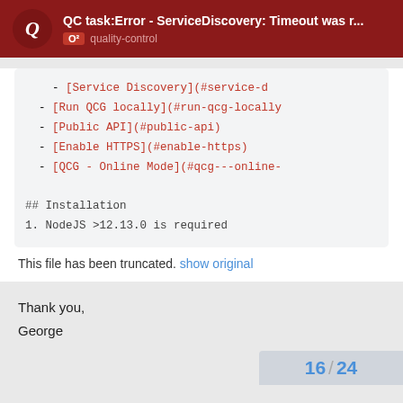QC task:Error - ServiceDiscovery: Timeout was r...
- [Service Discovery](#service-d
- [Run QCG locally](#run-qcg-locally
- [Public API](#public-api)
- [Enable HTTPS](#enable-https)
- [QCG - Online Mode](#qcg---online-

## Installation
1. NodeJS >12.13.0 is required
This file has been truncated. show original
Thank you,
George
16 / 24